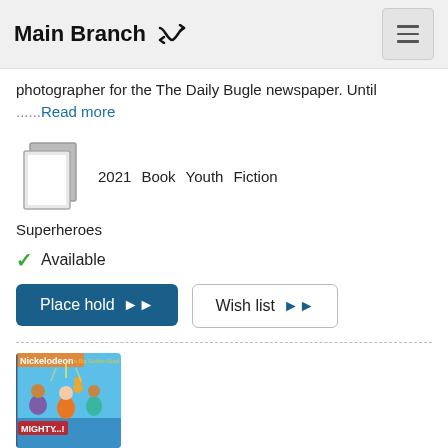Main Branch
photographer for the The Daily Bugle newspaper. Until ......Read more
2021  Book  Youth  Fiction  Superheroes
Available
Place hold
Wish list
[Figure (photo): Book cover showing animated superhero children characters from a Nickelodeon Big Golden Book]